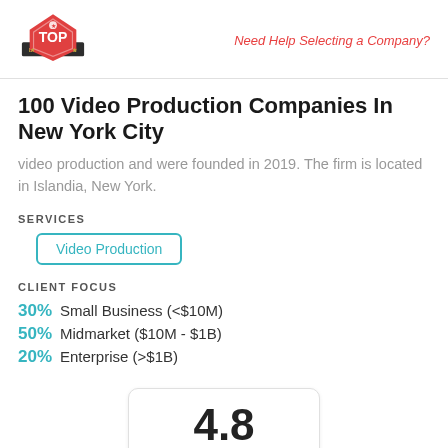Top Design Firms | Need Help Selecting a Company?
100 Video Production Companies In New York City
video production and were founded in 2019. The firm is located in Islandia, New York.
SERVICES
Video Production
CLIENT FOCUS
30% Small Business (<$10M)
50% Midmarket ($10M - $1B)
20% Enterprise (>$1B)
4.8 (rating with 5 stars)